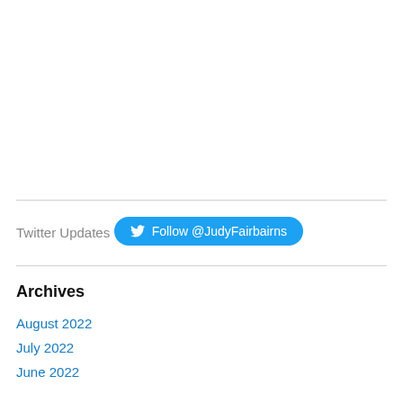Twitter Updates
Follow @JudyFairbairns
Archives
August 2022
July 2022
June 2022